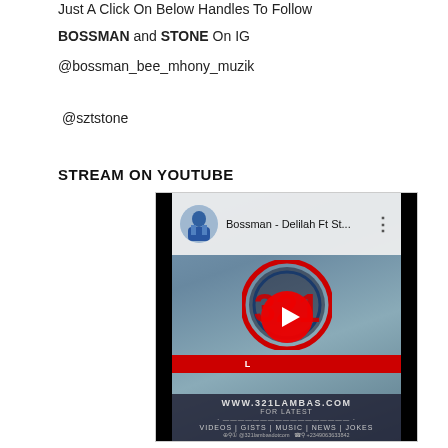Just A Click On Below Handles To Follow
BOSSMAN and STONE On IG
@bossman_bee_mhony_muzik
@sztstone
STREAM ON YOUTUBE
[Figure (screenshot): YouTube video embed thumbnail showing 'Bossman - Delilah Ft St...' with the 321 Lambas logo, a red play button in the center, and website info www.321lambas.com at the bottom with categories: VIDEOS | GISTS | MUSIC | NEWS | JOKES]